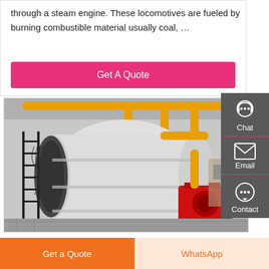through a steam engine. These locomotives are fueled by burning combustible material usually coal, …
Get A Quote
[Figure (photo): Industrial steam boiler / gas-fired boiler unit inside a building, large white cylindrical vessel with yellow pipes and red burner assembly]
Chat
Email
Contact
Get a Quote
WhatsApp